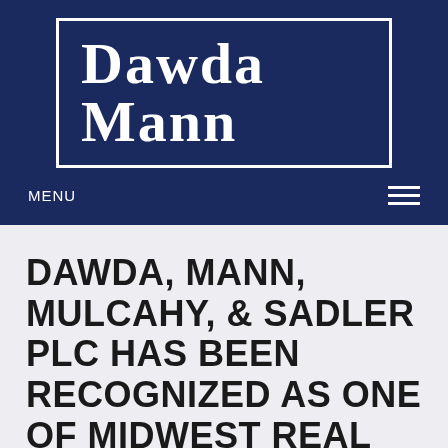[Figure (logo): Dawda Mann law firm logo — white serif text 'Dawda Mann' inside a white rectangular border on a dark navy blue background]
MENU
DAWDA, MANN, MULCAHY, & SADLER PLC HAS BEEN RECOGNIZED AS ONE OF MIDWEST REAL ESTATE NEWS' 2016 BEST OF THE